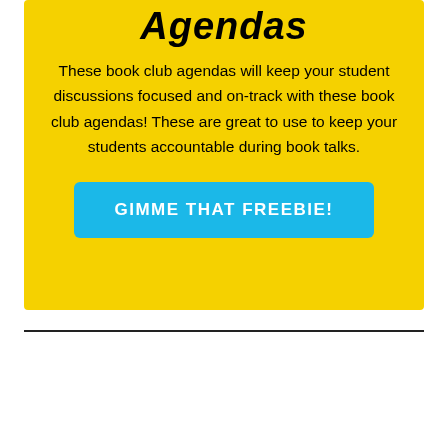Agendas
These book club agendas will keep your student discussions focused and on-track with these book club agendas! These are great to use to keep your students accountable during book talks.
GIMME THAT FREEBIE!